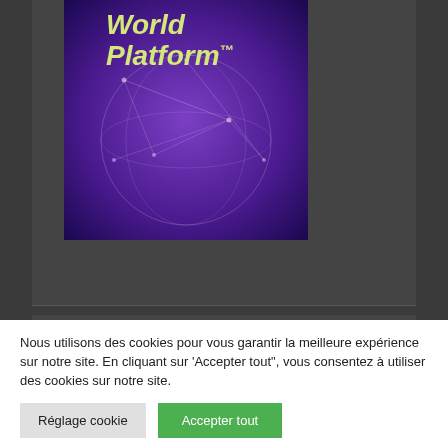[Figure (logo): World Platform™ logo on purple gradient background with globe network illustration]
Mentions Légales
Mentions Légales
Nous utilisons des cookies pour vous garantir la meilleure expérience sur notre site. En cliquant sur 'Accepter tout", vous consentez à utiliser des cookies sur notre site.